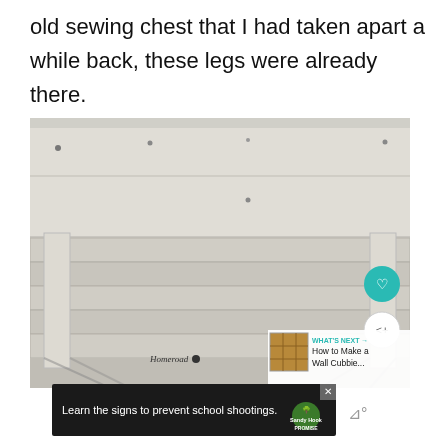old sewing chest that I had taken apart a while back, these legs were already there.
[Figure (photo): A white-painted wooden table/chest with four legs, photographed outdoors on a wooden deck. Watermark reads 'Homeroad'. Overlay shows heart and share buttons, and a 'What's Next' panel for 'How to Make a Wall Cubbie...']
[Figure (infographic): Ad bar: 'Learn the signs to prevent school shootings.' with Sandy Hook Promise logo. Close (X) button visible. Volume/mute icon to the right.]